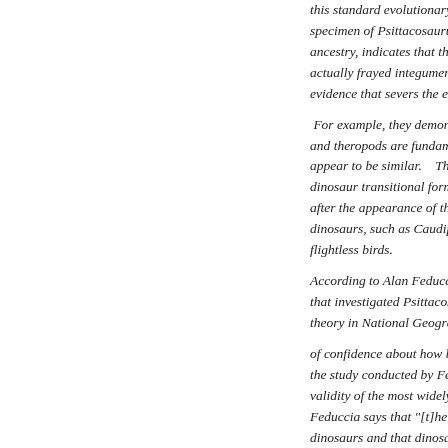this standard evolutionary assertion. specimen of Psittacosaurus, a dinosaur ancestry, indicates that the features in actually frayed integument (skin). evidence that severs the evolutionary  For example, they demonstrated that and theropods are fundamentally diff appear to be similar.    The team also dinosaur transitional forms occur in after the appearance of the first true dinosaurs, such as Caudipteryx, are r flightless birds.

According to Alan Feduccia, the pale that investigated Psittacosaurus, con theory in National Geographic, Natu

of confidence about how birds origin the study conducted by Feduccia's te validity of the most widely held evolu Feduccia says that "[t]he theory that dinosaurs and that dinosaurs were fe creationists have jumped all over it, t

'dinosaurian science' as evidence agg